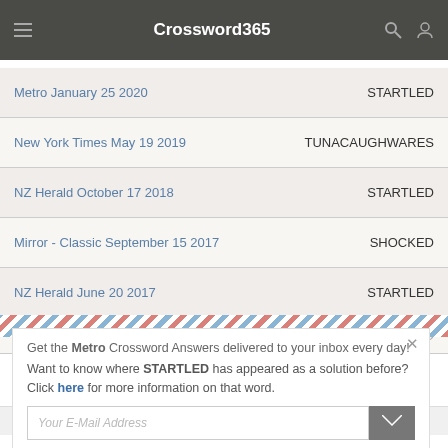Crossword365
| Source | Answer |
| --- | --- |
| Metro January 25 2020 | STARTLED |
| New York Times May 19 2019 | TUNACAUGHWARES |
| NZ Herald October 17 2018 | STARTLED |
| Mirror - Classic September 15 2017 | SHOCKED |
| NZ Herald June 20 2017 | STARTLED |
| Metro March 3 2017 | STARTLED |
Get the Metro Crossword Answers delivered to your inbox every day!
Want to know where STARTLED has appeared as a solution before? Click here for more information on that word.
This website uses cookies to ensure you get the best experience on our website